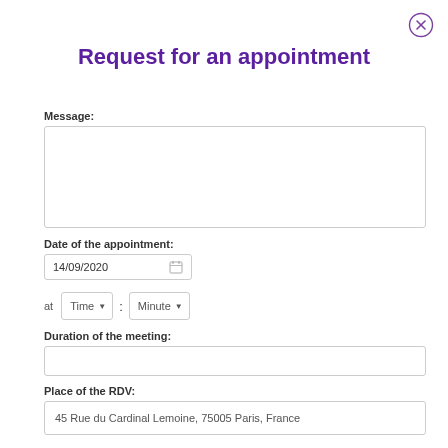[Figure (other): Close button (X in circle) in top-right corner]
Request for an appointment
Message:
[Figure (other): Empty text area input box for message]
Date of the appointment:
[Figure (other): Date input field showing 14/09/2020 with calendar icon]
[Figure (other): Time selector row: 'at' label, Time dropdown, colon, Minute dropdown]
Duration of the meeting:
[Figure (other): Empty input box for duration]
Place of the RDV:
[Figure (other): Input box showing: 45 Rue du Cardinal Lemoine, 75005 Paris, France]